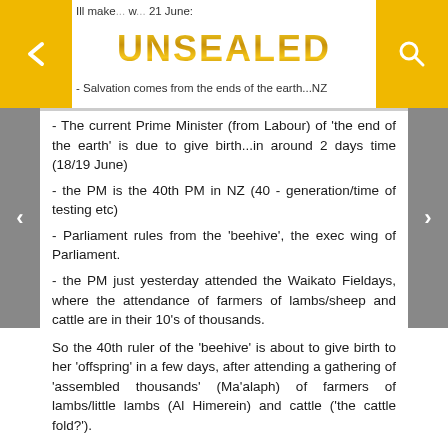Ill make... w... 21 June: - Salvation comes from the ends of the earth...NZ
[Figure (logo): UNSEALED logo in gold metallic text]
- The current Prime Minister (from Labour) of 'the end of the earth' is due to give birth...in around 2 days time (18/19 June)
- the PM is the 40th PM in NZ (40 - generation/time of testing etc)
- Parliament rules from the 'beehive', the exec wing of Parliament.
- the PM just yesterday attended the Waikato Fieldays, where the attendance of farmers of lambs/sheep and cattle are in their 10's of thousands.
So the 40th ruler of the 'beehive' is about to give birth to her 'offspring' in a few days, after attending a gathering of 'assembled thousands' (Ma'alaph) of farmers of lambs/little lambs (Al Himerein) and cattle ('the cattle fold?').